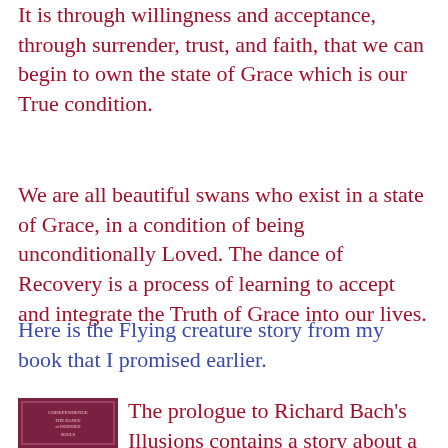It is through willingness and acceptance, through surrender, trust, and faith, that we can begin to own the state of Grace which is our True condition.
We are all beautiful swans who exist in a state of Grace, in a condition of being unconditionally Loved. The dance of Recovery is a process of learning to accept and integrate the Truth of Grace into our lives.
Here is the Flying creature story from my book that I promised earlier.
[Figure (photo): Book cover of Codependence: The Dance of Wounded Souls, reddish-brown cover with decorative pattern]
The prologue to Richard Bach's Illusions contains a story about a